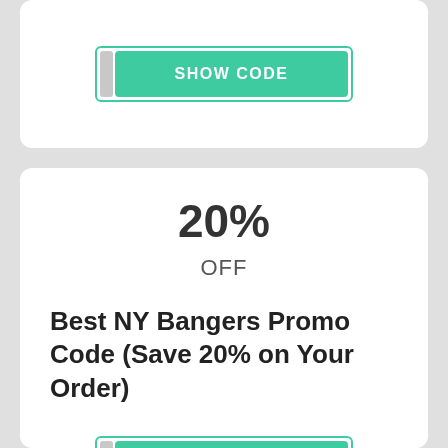[Figure (other): Top coupon card partially visible, showing a 'SHOW CODE' teal button with torn ticket left edge]
20%
OFF
Best NY Bangers Promo Code (Save 20% on Your Order)
[Figure (other): SHOW CODE teal button with torn ticket left edge inside a teal bordered wrapper]